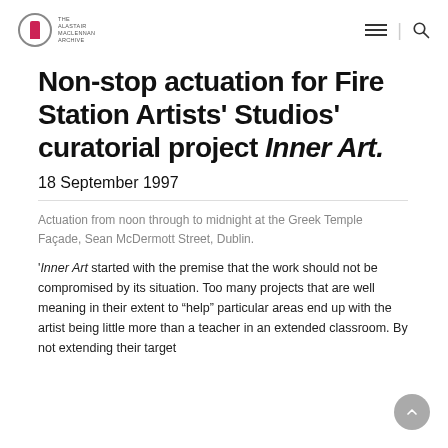The Alastair Maclennan Archive
Non-stop actuation for Fire Station Artists' Studios' curatorial project Inner Art.
18 September 1997
Actuation from noon through to midnight at the Greek Temple Façade, Sean McDermott Street, Dublin.
'Inner Art started with the premise that the work should not be compromised by its situation. Too many projects that are well meaning in their extent to “help” particular areas end up with the artist being little more than a teacher in an extended classroom. By not extending their target